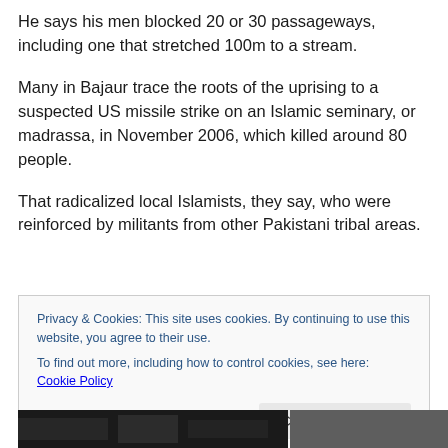He says his men blocked 20 or 30 passageways, including one that stretched 100m to a stream.
Many in Bajaur trace the roots of the uprising to a suspected US missile strike on an Islamic seminary, or madrassa, in November 2006, which killed around 80 people.
That radicalized local Islamists, they say, who were reinforced by militants from other Pakistani tribal areas.
Privacy & Cookies: This site uses cookies. By continuing to use this website, you agree to their use.
To find out more, including how to control cookies, see here: Cookie Policy
[Close and accept]
[Figure (photo): Partial view of a photo at the bottom of the page, showing a dark scene, partially cut off.]